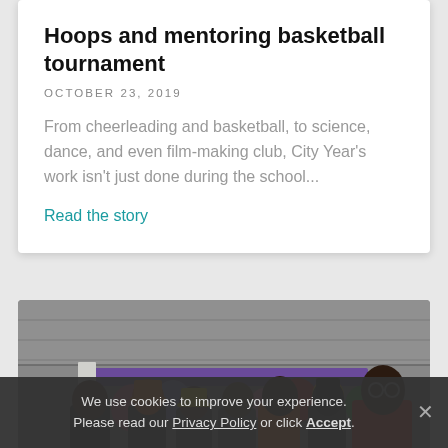Hoops and mentoring basketball tournament
OCTOBER 23, 2019
From cheerleading and basketball, to science, dance, and even film-making club, City Year's work isn't just done during the school...
Read the story
[Figure (photo): Group of young people posing together with colorful balloons and decorations in what appears to be a gymnasium or school setting. People are wearing colorful costumes and hats.]
We use cookies to improve your experience. Please read our Privacy Policy or click Accept.